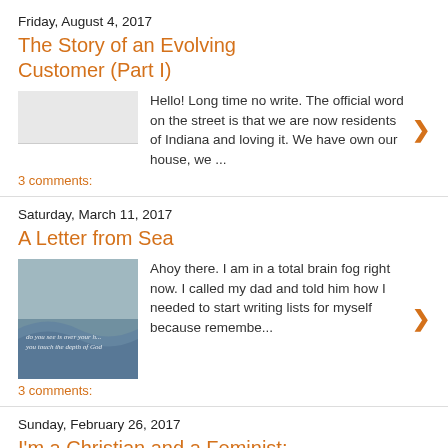Friday, August 4, 2017
The Story of an Evolving Customer (Part I)
Hello! Long time no write. The official word on the street is that we are now residents of Indiana and loving it. We have own our house, we ...
3 comments:
Saturday, March 11, 2017
A Letter from Sea
Ahoy there. I am in a total brain fog right now. I called my dad and told him how I needed to start writing lists for myself because remembe...
3 comments:
Sunday, February 26, 2017
I'm a Christian and a Feminist: Come At Me, Bro